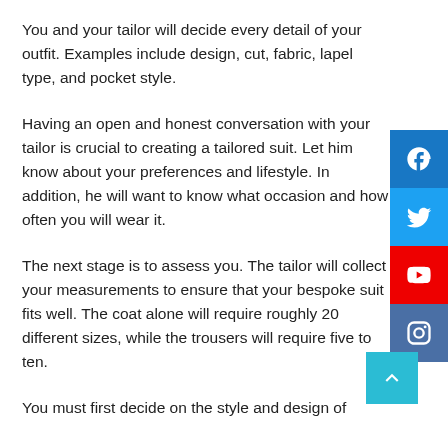You and your tailor will decide every detail of your outfit. Examples include design, cut, fabric, lapel type, and pocket style.
Having an open and honest conversation with your tailor is crucial to creating a tailored suit. Let him know about your preferences and lifestyle. In addition, he will want to know what occasion and how often you will wear it.
The next stage is to assess you. The tailor will collect your measurements to ensure that your bespoke suit fits well. The coat alone will require roughly 20 different sizes, while the trousers will require five to ten.
You must first decide on the style and design of